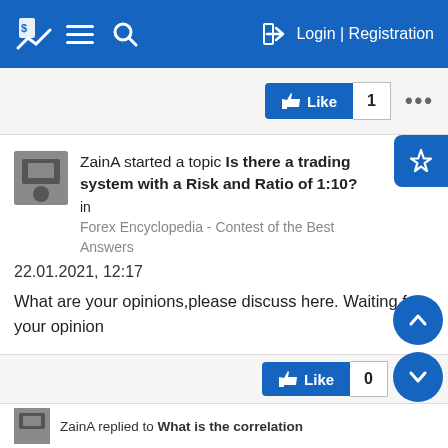Login | Registration
[Figure (screenshot): Like button with count 1 and more options (...)]
ZainA started a topic Is there a trading system with a Risk and Ratio of 1:10? in Forex Encyclopedia - Contest of the Best Answers 22.01.2021, 12:17
What are your opinions,please discuss here. Waiting for your opinion
GO TO POST
InstaForex - make money with a reliable broker!
[Figure (screenshot): Like button with count 0]